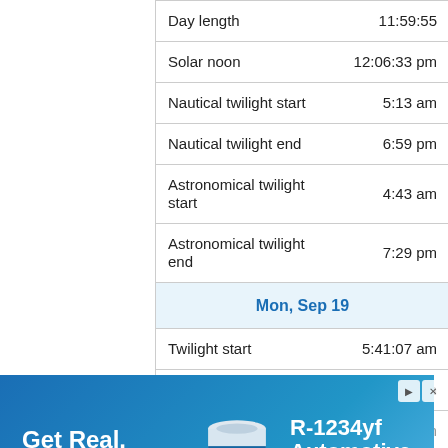| Label | Value |
| --- | --- |
| Day length | 11:59:55 |
| Solar noon | 12:06:33 pm |
| Nautical twilight start | 5:13 am |
| Nautical twilight end | 6:59 pm |
| Astronomical twilight start | 4:43 am |
| Astronomical twilight end | 7:29 pm |
| Mon, Sep 19 |  |
| Twilight start | 5:41:07 am |
| Sunrise | 6:05:08 am |
| Sunset | 6:07:14 pm |
[Figure (infographic): Advertisement for Opteon YF Automotive Refrigerant. Shows text 'Get Real. Get YF.' and Opteon YF logo on the left, a can of Opteon YF product in the center, and 'R-1234yf Automotive Refrigerant' with a LEARN MORE button on the right. Blue gradient background.]